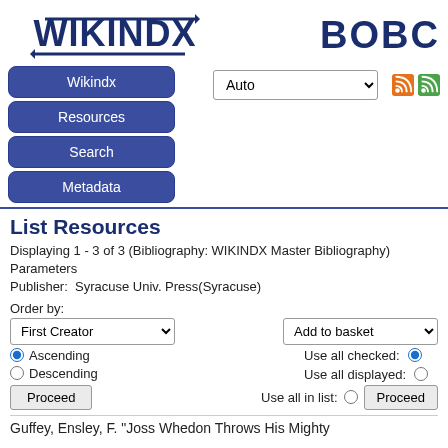[Figure (logo): WIKINDX logo with arrows pointing left and right, dark blue text]
[Figure (logo): BOBC logo in dark blue bold text (partially cut off)]
Wikindx
Resources
Search
Metadata
List Resources
Displaying 1 - 3 of 3 (Bibliography: WIKINDX Master Bibliography) Parameters
Publisher:  Syracuse Univ. Press(Syracuse)
Order by:
Ascending
Descending
Use all checked:
Use all displayed:
Use all in list:
Guffey, Ensley, F. "Joss Whedon Throws His Mighty